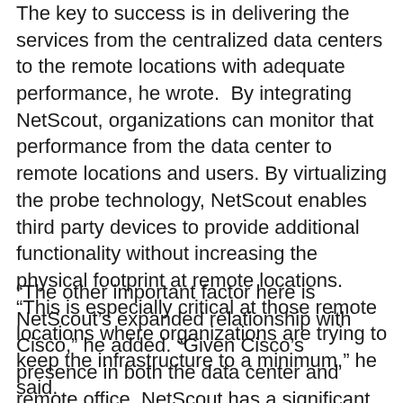The key to success is in delivering the services from the centralized data centers to the remote locations with adequate performance, he wrote.  By integrating NetScout, organizations can monitor that performance from the data center to remote locations and users. By virtualizing the probe technology, NetScout enables third party devices to provide additional functionality without increasing the physical footprint at remote locations. “This is especially critical at those remote locations where organizations are trying to keep the infrastructure to a minimum,” he said.
“The other important factor here is NetScout’s expanded relationship with Cisco,” he added. “Given Cisco’s presence in both the data center and remote office, NetScout has a significant opportunity with this solution. Combined with NetScout’s other solutions and new enterprises will be able to manage the